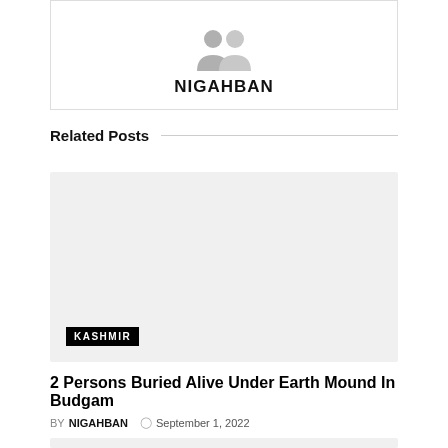[Figure (illustration): Author avatar placeholder with a grey silhouette person icon and the name NIGAHBAN below it, inside a white box with light border]
Related Posts
[Figure (photo): Light grey placeholder image for a related post, with a black KASHMIR badge label in the lower left corner]
2 Persons Buried Alive Under Earth Mound In Budgam
BY NIGAHBAN  ⊙ September 1, 2022